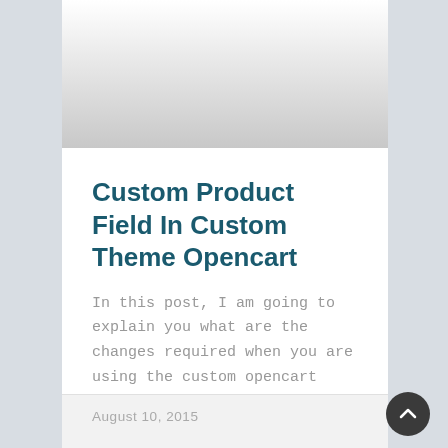[Figure (photo): Gradient image area at top of card, fading from white to grey]
Custom Product Field In Custom Theme Opencart
In this post, I am going to explain you what are the changes required when you are using the custom opencart theme.
READ MORE »
August 10, 2015